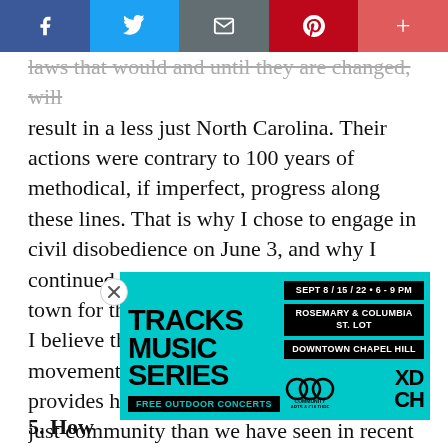Social share bar: Facebook, Twitter, Email, Pinterest, More
laws that would and until they are changed, will result in a less just North Carolina. Their actions were contrary to 100 years of methodical, if imperfect, progress along these lines. That is why I chose to engage in civil disobedience on June 3, and why I continued going every Monday I was in town for thereafter, with my children in tow. I believe that this non-partisan, progressive movement called Forward Together provides hope and opportunity for a more just community than we have seen in recent memory. As mentioned previously I would use this goal of justice as a lens through which I viewed decisions, and encourage my colleagues to do the same. I would expect to be held ac… idents, as well…
[Figure (infographic): Tracks Music Series advertisement overlay. Cyan background with bold black text 'TRACKS MUSIC SERIES', black info boxes reading 'SEPT 8 / 15 / 22 • 6 - 9 PM', 'ROSEMARY & COLUMBIA ST. LOT', 'DOWNTOWN CHAPEL HILL', 'FREE OUTDOOR CONCERTS', community arts & culture logo, XDCH logo.]
5. How…